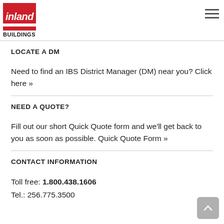Inland Buildings
LOCATE A DM
Need to find an IBS District Manager (DM) near you? Click here »
NEED A QUOTE?
Fill out our short Quick Quote form and we'll get back to you as soon as possible. Quick Quote Form »
CONTACT INFORMATION
Toll free: 1.800.438.1606
Tel.: 256.775.3500